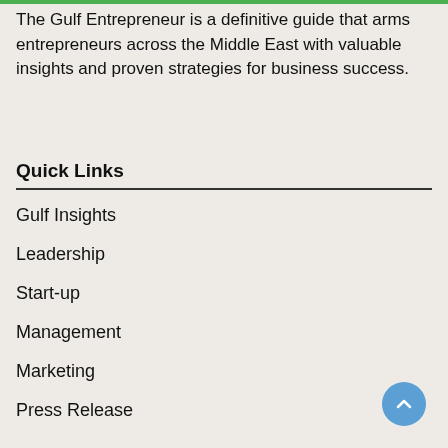The Gulf Entrepreneur is a definitive guide that arms entrepreneurs across the Middle East with valuable insights and proven strategies for business success.
Quick Links
Gulf Insights
Leadership
Start-up
Management
Marketing
Press Release